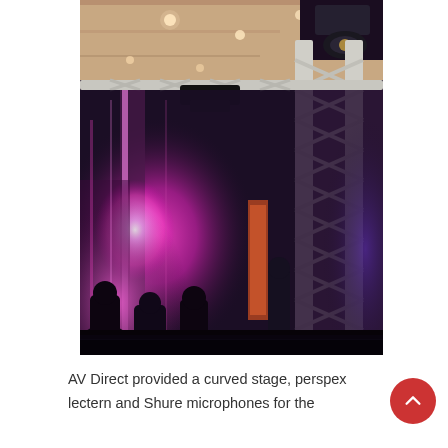[Figure (photo): Indoor event venue with stage lighting showing pink/magenta stage lights, metal truss structure on the right, dark curtains in background, audience silhouettes, and ceiling lights. Event setup with lighting rig.]
AV Direct provided a curved stage, perspex lectern and Shure microphones for the